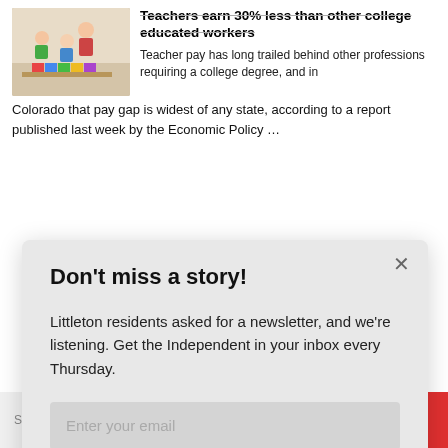[Figure (photo): Children playing with colorful blocks with a teacher in a classroom setting]
Teachers earn 30% less than other college educated workers
Teacher pay has long trailed behind other professions requiring a college degree, and in Colorado that pay gap is widest of any state, according to a report published last week by the Economic Policy …
Don't miss a story!
Littleton residents asked for a newsletter, and we're listening. Get the Independent in your inbox every Thursday.
Enter your email
Sign up
SHARES